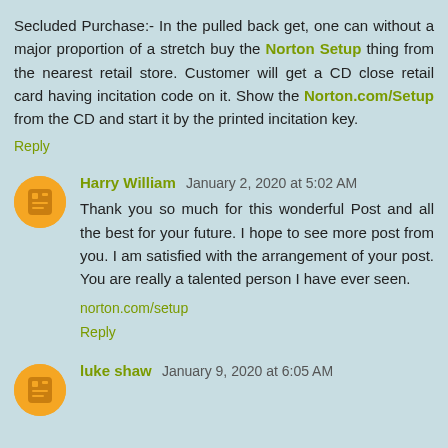Secluded Purchase:- In the pulled back get, one can without a major proportion of a stretch buy the Norton Setup thing from the nearest retail store. Customer will get a CD close retail card having incitation code on it. Show the Norton.com/Setup from the CD and start it by the printed incitation key.
Reply
Harry William  January 2, 2020 at 5:02 AM
Thank you so much for this wonderful Post and all the best for your future. I hope to see more post from you. I am satisfied with the arrangement of your post. You are really a talented person I have ever seen.
norton.com/setup
Reply
luke shaw  January 9, 2020 at 6:05 AM